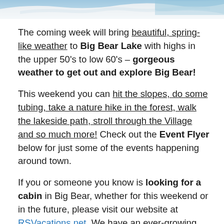[Figure (photo): Partial view of a snowy mountain or ski slope scene, cropped at the top of the page]
The coming week will bring beautiful, spring-like weather to Big Bear Lake with highs in the upper 50's to low 60's – gorgeous weather to get out and explore Big Bear!
This weekend you can hit the slopes, do some tubing, take a nature hike in the forest, walk the lakeside path, stroll through the Village and so much more! Check out the Event Flyer below for just some of the events happening around town.
If you or someone you know is looking for a cabin in Big Bear, whether for this weekend or in the future, please visit our website at RSVacations.net. We have an ever-growing number of cabins available: From quiet Lakefronts for 2 to one of our Lodge Cabins that sleep 12 +. Most of our cabins have the amenities you are